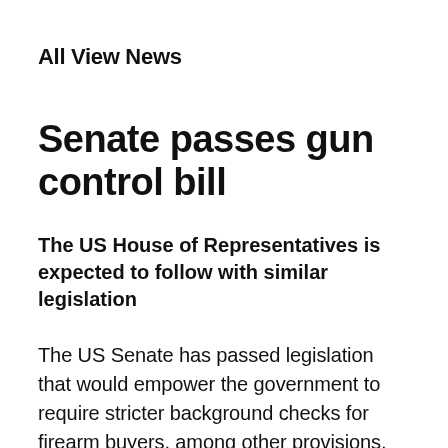All View News
Senate passes gun control bill
The US House of Representatives is expected to follow with similar legislation
The US Senate has passed legislation that would empower the government to require stricter background checks for firearm buyers, among other provisions, as public debate over gun control heats up in the wake of recent